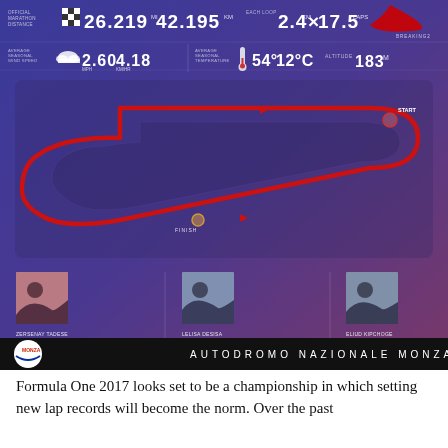[Figure (infographic): Nike Breaking2 marathon infographic showing Autodromo Nazionale Monza track layout with official marathon distance (26.219 mi / 42.195 km), each loop 2.4 km × 17.5 laps, average seasonal wind speed 2.60 mph / 4.18 km/h, average seasonal temperature 54°F / 12°C, altitude 183 m, red loop track diagram with START and FINISH markers, three athletes: Zersenay Tadese (2:10:41), Lelisa Desisa (2:04:45), Eliud Kipchoge (2:03:05) with marathon records shown.]
Formula One 2017 looks set to be a championship in which setting new lap records will become the norm. Over the past